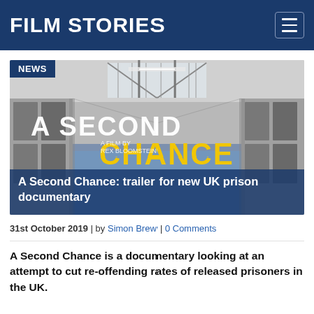FILM STORIES
[Figure (screenshot): Article card image showing a black and white prison interior with the text 'A SECOND CHANCE - A Film by Rex Bloomstein' overlaid, with 'SECOND' in white and 'CHANCE' in yellow. A 'NEWS' tag appears in the top-left corner. The bottom portion has a dark blue overlay with the headline 'A Second Chance: trailer for new UK prison documentary'.]
31st October 2019 | by Simon Brew | 0 Comments
A Second Chance is a documentary looking at an attempt to cut re-offending rates of released prisoners in the UK.